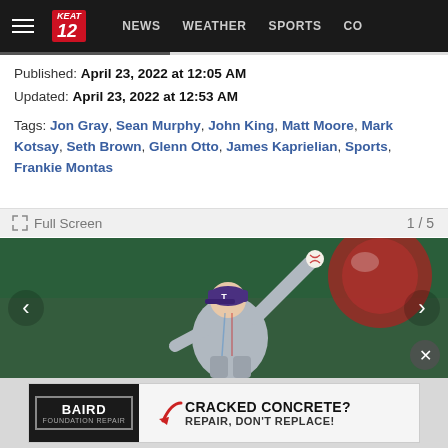NEWS  WEATHER  SPORTS  CO
Published: April 23, 2022 at 12:05 AM
Updated: April 23, 2022 at 12:53 AM
Tags: Jon Gray, Sean Murphy, John King, Matt Moore, Mark Kotsay, Seth Brown, Glenn Otto, James Kaprielian, Sports, Frankie Montas
Full Screen  1 / 5
[Figure (photo): Baseball pitcher in Texas Rangers gray uniform and purple cap in mid-throw motion, holding white baseball above head, against green outfield background with blurred red/white logo]
BAIRD FOUNDATION REPAIR — CRACKED CONCRETE? REPAIR, DON'T REPLACE!